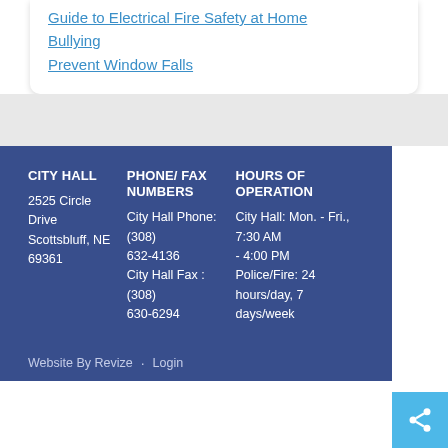Guide to Electrical Fire Safety at Home
Bullying
Prevent Window Falls
CITY HALL
2525 Circle Drive
Scottsbluff, NE 69361
PHONE/ FAX NUMBERS
City Hall Phone: (308) 632-4136
City Hall Fax : (308) 630-6294
HOURS OF OPERATION
City Hall: Mon. - Fri., 7:30 AM - 4:00 PM
Police/Fire: 24 hours/day, 7 days/week
Website By Revize  ·  Login